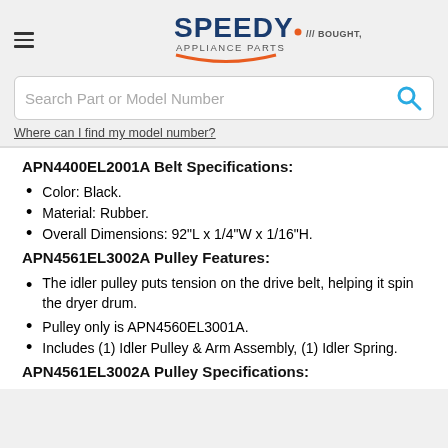[Figure (logo): Speedy Appliance Parts logo with tagline: BOUGHT, SHIPPED, DONE.]
Search Part or Model Number
Where can I find my model number?
APN4400EL2001A Belt Specifications:
Color: Black.
Material: Rubber.
Overall Dimensions: 92"L x 1/4"W x 1/16"H.
APN4561EL3002A Pulley Features:
The idler pulley puts tension on the drive belt, helping it spin the dryer drum.
Pulley only is APN4560EL3001A.
Includes (1) Idler Pulley & Arm Assembly, (1) Idler Spring.
APN4561EL3002A Pulley Specifications: